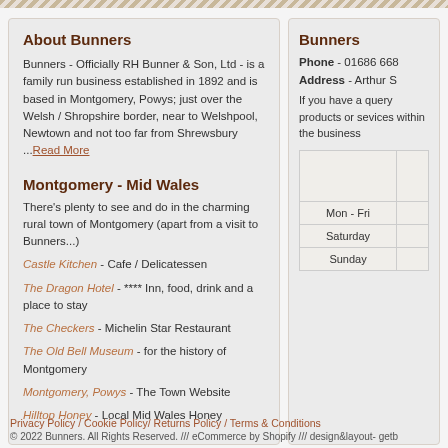About Bunners
Bunners - Officially RH Bunner & Son, Ltd - is a family run business established in 1892 and is based in Montgomery, Powys; just over the Welsh / Shropshire border, near to Welshpool, Newtown and not too far from Shrewsbury ...Read More
Montgomery - Mid Wales
There's plenty to see and do in the charming rural town of Montgomery (apart from a visit to Bunners...)
Castle Kitchen - Cafe / Delicatessen
The Dragon Hotel - **** Inn, food, drink and a place to stay
The Checkers - Michelin Star Restaurant
The Old Bell Museum - for the history of Montgomery
Montgomery, Powys - The Town Website
Hilltop Honey - Local Mid Wales Honey
Bunners
Phone - 01686 668
Address - Arthur S
If you have a query products or sevices within the business
|  |  |
| --- | --- |
|  |  |
| Mon - Fri |  |
| Saturday |  |
| Sunday |  |
Privacy Policy / Cookie Policy/ Returns Policy / Terms & Conditions
© 2022 Bunners. All Rights Reserved. /// eCommerce by Shopify /// design&layout- getb...